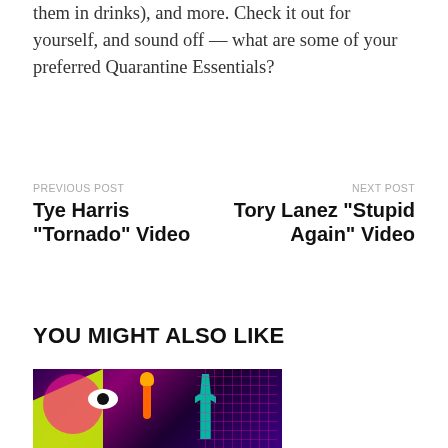them in drinks), and more. Check it out for yourself, and sound off — what are some of your preferred Quarantine Essentials?
PREVIOUS POST
Tye Harris “Tornado” Video
NEXT POST
Tory Lanez “Stupid Again” Video
YOU MIGHT ALSO LIKE
[Figure (photo): Colorful neon-style illustrated image with Statue of Liberty and psychedelic elements in purple, pink, and green tones]